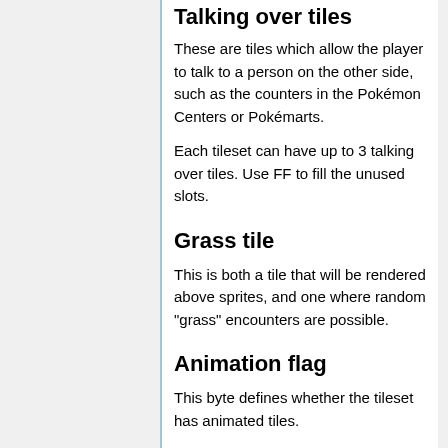Talking over tiles
These are tiles which allow the player to talk to a person on the other side, such as the counters in the Pokémon Centers or Pokémarts.
Each tileset can have up to 3 talking over tiles. Use FF to fill the unused slots.
Grass tile
This is both a tile that will be rendered above sprites, and one where random "grass" encounters are possible.
Animation flag
This byte defines whether the tileset has animated tiles.
If the byte is zero, no animations take place. Otherwise, the water animation will be in effect, and if bit 0 is reset, the